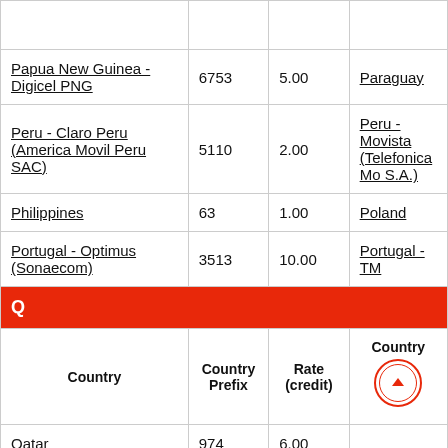| Country | Country Prefix | Rate (credit) | Country |
| --- | --- | --- | --- |
| (empty row) |  |  |  |
| Papua New Guinea - Digicel PNG | 6753 | 5.00 | Paraguay |
| Peru - Claro Peru (America Movil Peru SAC) | 5110 | 2.00 | Peru - Movistar (Telefonica Mo... S.A.) |
| Philippines | 63 | 1.00 | Poland |
| Portugal - Optimus (Sonaecom) | 3513 | 10.00 | Portugal - TM... |
| Q section header |  |  |  |
| Country | Country Prefix | Rate (credit) | Country |
| Qatar | 974 | 6.00 |  |